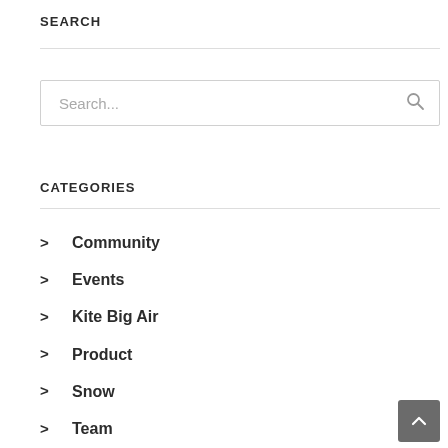SEARCH
[Figure (screenshot): Search input box with placeholder text 'Search...' and a magnifying glass icon on the right]
CATEGORIES
Community
Events
Kite Big Air
Product
Snow
Team
Technique
Travel